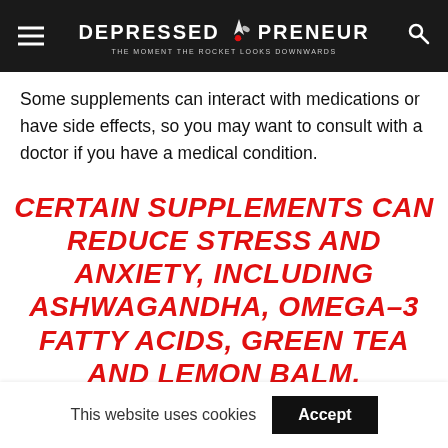DEPRESSED PRENEUR — THE MOMENT THE ROCKET LOOKS DOWNWARDS
Some supplements can interact with medications or have side effects, so you may want to consult with a doctor if you have a medical condition.
CERTAIN SUPPLEMENTS CAN REDUCE STRESS AND ANXIETY, INCLUDING ASHWAGANDHA, OMEGA-3 FATTY ACIDS, GREEN TEA AND LEMON BALM.
3. Light a Candle
This website uses cookies  Accept